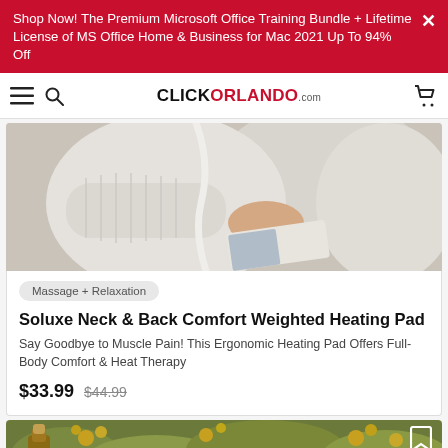Shop Now! The Premium Microsoft Office Training Bundle + Lifetime License of MS Office Home & Business for Mac 2021 Up To 94% Off
CLICKORLANDO.com
[Figure (photo): Person in cream ribbed sweater relaxing on a sofa, reading a book with a heating pad with white cable attached to their neck and back area.]
Massage + Relaxation
Soluxe Neck & Back Comfort Weighted Heating Pad
Say Goodbye to Muscle Pain! This Ergonomic Heating Pad Offers Full-Body Comfort & Heat Therapy
$33.99  $44.99
[Figure (photo): Close-up of a glass bottle with a cork stopper surrounded by yellow wildflowers and herbs.]